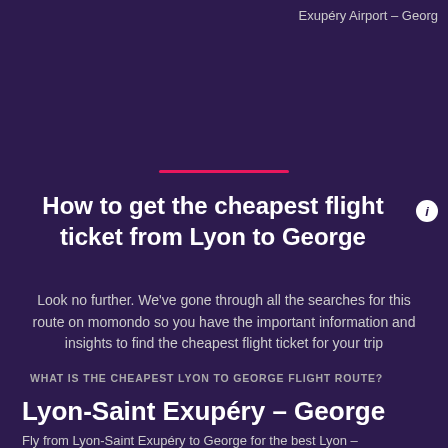Exupéry Airport – Georg
How to get the cheapest flight ticket from Lyon to George
Look no further. We've gone through all the searches for this route on momondo so you have the important information and insights to find the cheapest flight ticket for your trip
WHAT IS THE CHEAPEST LYON TO GEORGE FLIGHT ROUTE?
Lyon-Saint Exupéry – George
Fly from Lyon-Saint Exupéry to George for the best Lyon –